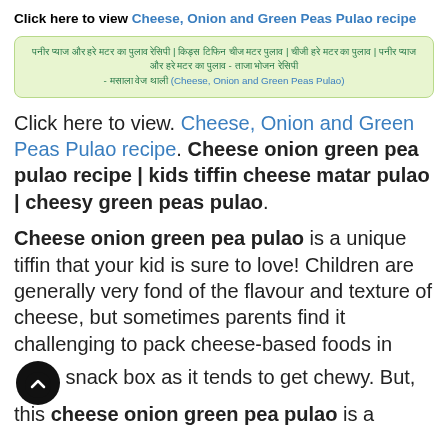Click here to view Cheese, Onion and Green Peas Pulao recipe
[Hindi text] | [Hindi text] | [Hindi text] | [Hindi text] - [Hindi text] (Cheese, Onion and Green Peas Pulao)
Click here to view. Cheese, Onion and Green Peas Pulao recipe. Cheese onion green pea pulao recipe | kids tiffin cheese matar pulao | cheesy green peas pulao.
Cheese onion green pea pulao is a unique tiffin that your kid is sure to love! Children are generally very fond of the flavour and texture of cheese, but sometimes parents find it challenging to pack cheese-based foods in snack box as it tends to get chewy. But, this cheese onion green pea pulao is a